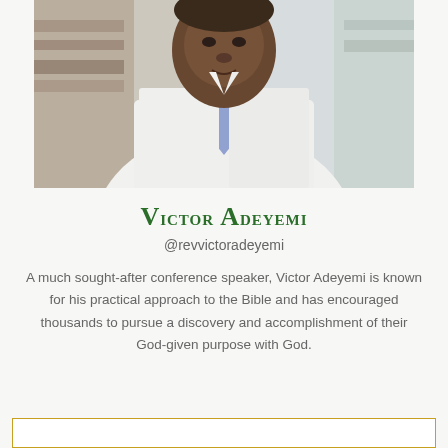[Figure (photo): Professional headshot of Victor Adeyemi, a Black man wearing a white dress shirt and light blue/purple tie, seated, shown from waist up, with blurred background of bookshelves/windows.]
Victor Adeyemi
@revvictoradeyemi
A much sought-after conference speaker, Victor Adeyemi is known for his practical approach to the Bible and has encouraged thousands to pursue a discovery and accomplishment of their God-given purpose with God.